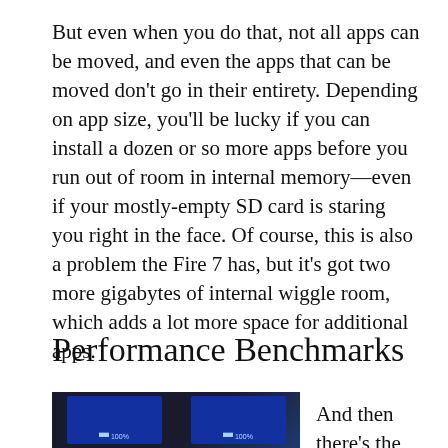But even when you do that, not all apps can be moved, and even the apps that can be moved don't go in their entirety. Depending on app size, you'll be lucky if you can install a dozen or so more apps before you run out of room in internal memory—even if your mostly-empty SD card is staring you right in the face. Of course, this is also a problem the Fire 7 has, but it's got two more gigabytes of internal wiggle room, which adds a lot more space for additional apps.
Performance Benchmarks
[Figure (photo): Dark screenshot showing two device screens side by side with blue UI elements]
And then there's the